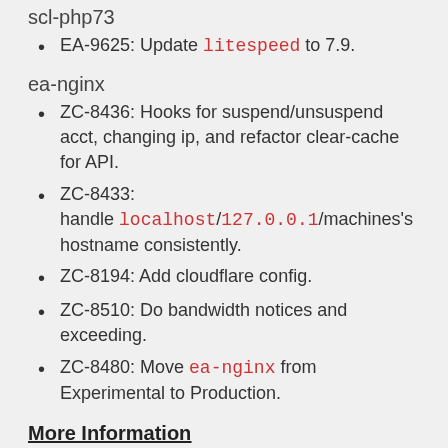scl-php73
EA-9625: Update litespeed to 7.9.
ea-nginx
ZC-8436: Hooks for suspend/unsuspend acct, changing ip, and refactor clear-cache for API.
ZC-8433: handle localhost/127.0.0.1/machines's hostname consistently.
ZC-8194: Add cloudflare config.
ZC-8510: Do bandwidth notices and exceeding.
ZC-8480: Move ea-nginx from Experimental to Production.
More Information